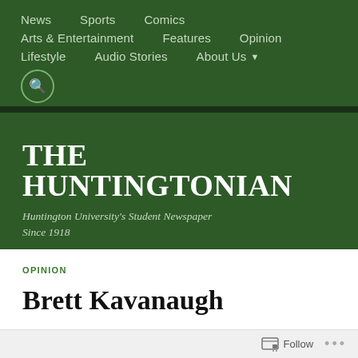News  Sports  Comics  Arts & Entertainment  Features  Opinion  Lifestyle  Audio Stories  About Us
THE HUNTINGTONIAN
Huntington University's Student Newspaper Since 1918
OPINION
Brett Kavanaugh